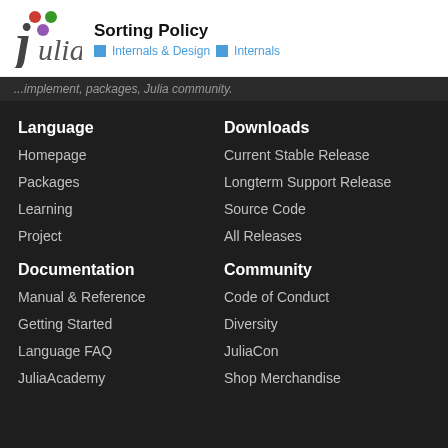Sorting Policy — Internals & Design > Internals
...implement, packages, Julia community.
Language
Homepage
Packages
Learning
Project
Downloads
Current Stable Release
Longterm Support Release
Source Code
All Releases
Documentation
Manual & Reference
Getting Started
Language FAQ
JuliaAcademy
Community
Code of Conduct
Diversity
JuliaCon
Shop Merchandise